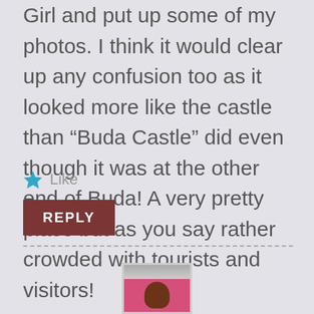Girl and put up some of my photos. I think it would clear up any confusion too as it looked more like the castle than “Buda Castle” did even though it was at the other end of Buda! A very pretty place but as you say rather crowded with tourists and visitors!
Like
REPLY
[Figure (photo): A small thumbnail photo showing a person among bright pink/red flowers, with a gray/striped border at top.]